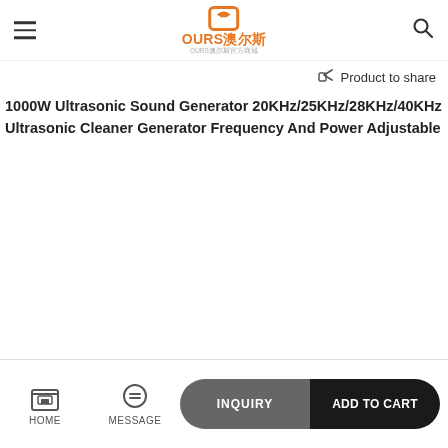OURS澳尔斯 logo with hamburger menu and search icon
Product to share
1000W Ultrasonic Sound Generator 20KHz/25KHz/28KHz/40KHz Ultrasonic Cleaner Generator Frequency And Power Adjustable
[Figure (photo): Product image area (empty/loading)]
HOME | MESSAGE | INQUIRY | ADD TO CART